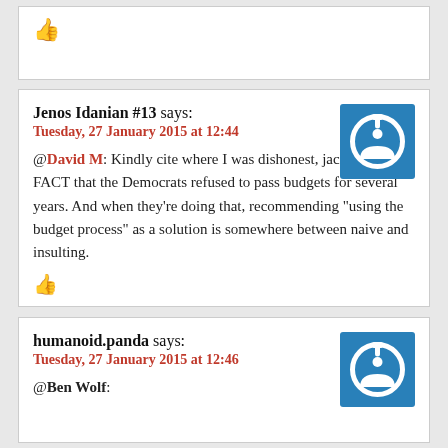[Figure (other): Partial comment box top with thumbs up icon]
Jenos Idanian #13 says:
Tuesday, 27 January 2015 at 12:44
@David M: Kindly cite where I was dishonest, jackhole. It’s a FACT that the Democrats refused to pass budgets for several years. And when they’re doing that, recommending “using the budget process” as a solution is somewhere between naive and insulting.
humanoid.panda says:
Tuesday, 27 January 2015 at 12:46
@Ben Wolf: